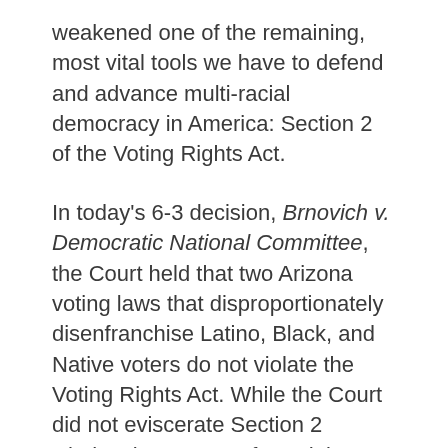weakened one of the remaining, most vital tools we have to defend and advance multi-racial democracy in America: Section 2 of the Voting Rights Act.
In today's 6-3 decision, Brnovich v. Democratic National Committee, the Court held that two Arizona voting laws that disproportionately disenfranchise Latino, Black, and Native voters do not violate the Voting Rights Act. While the Court did not eviscerate Section 2 wholesale, as many feared, it imposed stricter standards for evaluating future voting rights claims. Moving forward, it will be significantly harder to...